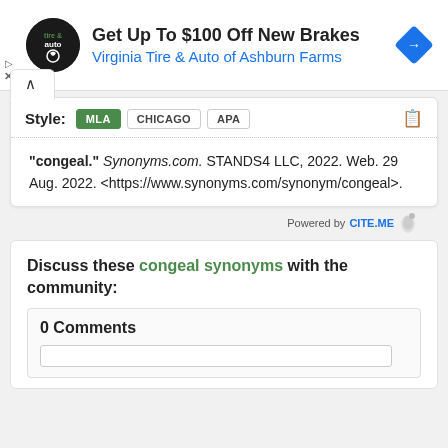[Figure (illustration): Advertisement banner: Virginia Tire & Auto logo (circular black badge), headline 'Get Up To $100 Off New Brakes', subtext 'Virginia Tire & Auto of Ashburn Farms', blue diamond navigation icon, play and close controls on left side]
Style: MLA CHICAGO APA
"congeal." Synonyms.com. STANDS4 LLC, 2022. Web. 29 Aug. 2022. <https://www.synonyms.com/synonym/congeal>.
Powered by CITE.ME
Discuss these congeal synonyms with the community:
0 Comments